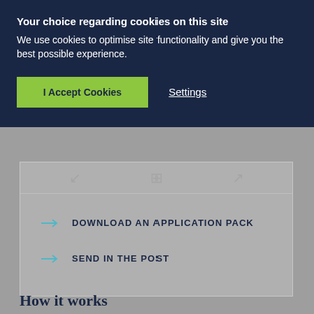Your choice regarding cookies on this site
We use cookies to optimise site functionality and give you the best possible experience.
I Accept Cookies
Settings
DOWNLOAD AN APPLICATION PACK
SEND IN THE POST
How it works